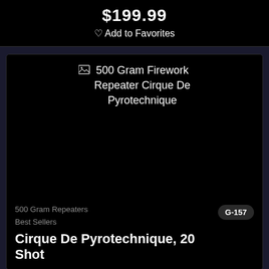$199.99
♡ Add to Favorites
[Figure (photo): 500 Gram Firework Repeater Cirque De Pyrotechnique product image (broken/unloaded)]
500 Gram Repeaters
Best Sellers
G-157
Cirque De Pyrotechnique, 20 Shot